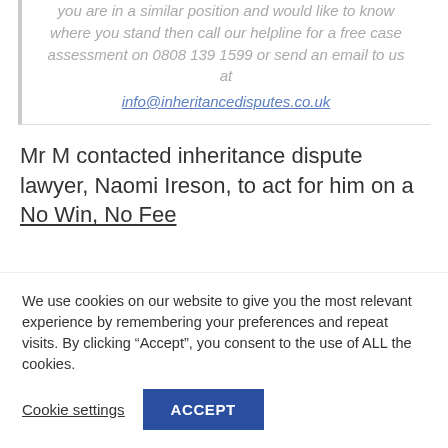that was brought against his wife's estate. If you are in a similar position and would like to know where you stand then call our helpline for a free case assessment on 0808 139 1599 or send an email to us at info@inheritancedisputes.co.uk
Mr M contacted inheritance dispute lawyer, Naomi Ireson, to act for him on a No Win, No Fee
We use cookies on our website to give you the most relevant experience by remembering your preferences and repeat visits. By clicking “Accept”, you consent to the use of ALL the cookies.
Cookie settings
ACCEPT